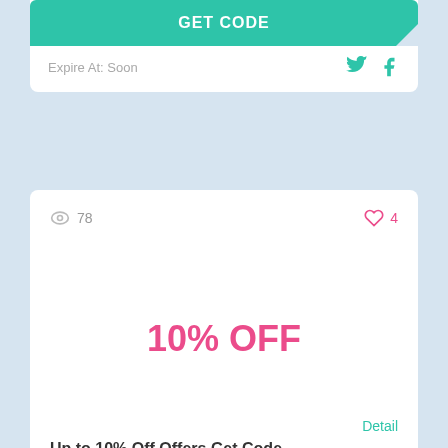GET CODE
Expire At: Soon
78
4
10% OFF
Up to 10% Off Offers Get Code
Detail